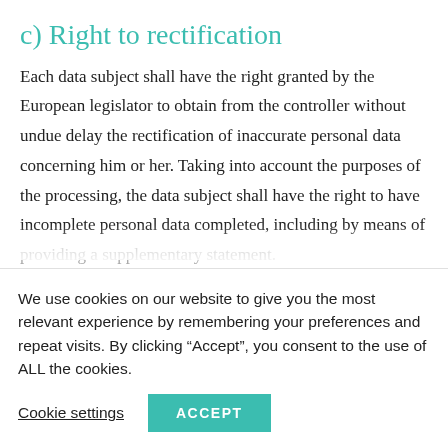c) Right to rectification
Each data subject shall have the right granted by the European legislator to obtain from the controller without undue delay the rectification of inaccurate personal data concerning him or her. Taking into account the purposes of the processing, the data subject shall have the right to have incomplete personal data completed, including by means of providing a supplementary statement.
We use cookies on our website to give you the most relevant experience by remembering your preferences and repeat visits. By clicking “Accept”, you consent to the use of ALL the cookies.
Cookie settings   ACCEPT